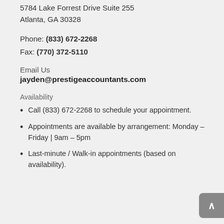5784 Lake Forrest Drive Suite 255
Atlanta, GA 30328
Phone: (833) 672-2268
Fax: (770) 372-5110
Email Us
jayden@prestigeaccountants.com
Availability
Call (833) 672-2268 to schedule your appointment.
Appointments are available by arrangement: Monday – Friday | 9am – 5pm
Last-minute / Walk-in appointments (based on availability).